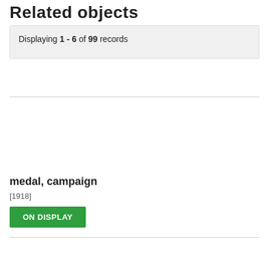Related objects
Displaying 1 - 6 of 99 records
medal, campaign
[1918]
ON DISPLAY